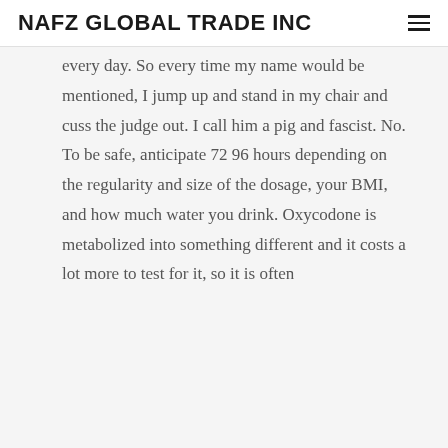NAFZ GLOBAL TRADE INC
every day. So every time my name would be mentioned, I jump up and stand in my chair and cuss the judge out. I call him a pig and fascist. No. To be safe, anticipate 72 96 hours depending on the regularity and size of the dosage, your BMI, and how much water you drink. Oxycodone is metabolized into something different and it costs a lot more to test for it, so it is often